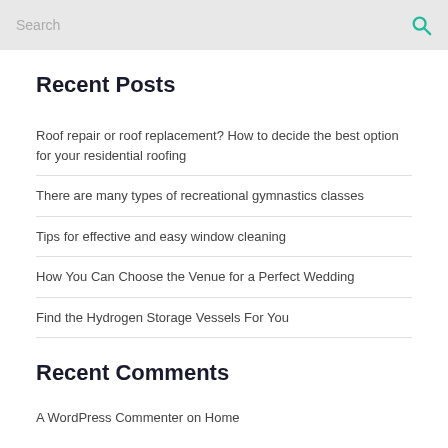Search
Recent Posts
Roof repair or roof replacement? How to decide the best option for your residential roofing
There are many types of recreational gymnastics classes
Tips for effective and easy window cleaning
How You Can Choose the Venue for a Perfect Wedding
Find the Hydrogen Storage Vessels For You
Recent Comments
A WordPress Commenter on Home